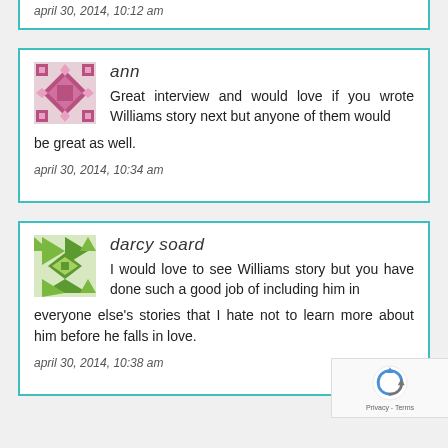april 30, 2014, 10:12 am
ann
Great interview and would love if you wrote Williams story next but anyone of them would be great as well.
april 30, 2014, 10:34 am
darcy soard
I would love to see Williams story but you have done such a good job of including him in everyone else's stories that I hate not to learn more about him before he falls in love.
april 30, 2014, 10:38 am